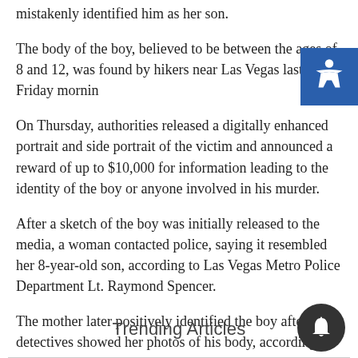mistakenly identified him as her son.
The body of the boy, believed to be between the ages of 8 and 12, was found by hikers near Las Vegas last Friday morning.
On Thursday, authorities released a digitally enhanced portrait and side portrait of the victim and announced a reward of up to $10,000 for information leading to the identity of the boy or anyone involved in his murder.
After a sketch of the boy was initially released to the media, a woman contacted police, saying it resembled her 8-year-old son, according to Las Vegas Metro Police Department Lt. Raymond Spencer.
The mother later positively identified the boy after detectives showed her photos of his body, according to Spencer.
Trending Articles